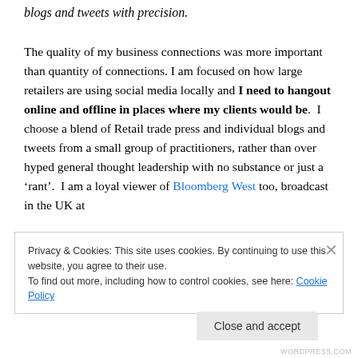blogs and tweets with precision.
The quality of my business connections was more important than quantity of connections. I am focused on how large retailers are using social media locally and I need to hangout online and offline in places where my clients would be.  I choose a blend of Retail trade press and individual blogs and tweets from a small group of practitioners, rather than over hyped general thought leadership with no substance or just a ‘rant’.  I am a loyal viewer of Bloomberg West too, broadcast in the UK at
Privacy & Cookies: This site uses cookies. By continuing to use this website, you agree to their use.
To find out more, including how to control cookies, see here: Cookie Policy
Close and accept